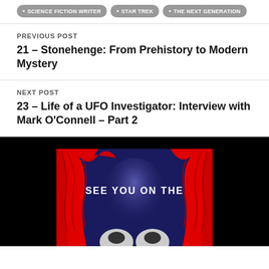SCIENCE FICTION WRITER
STAR TREK
THE NEXT GENERATION
PREVIOUS POST
21 – Stonehenge: From Prehistory to Modern Mystery
NEXT POST
23 – Life of a UFO Investigator: Interview with Mark O'Connell – Part 2
[Figure (illustration): Theater curtain illustration with red drapes and text 'SEE YOU ON THE' on a dark blue background, with a spotlight and partial face below]